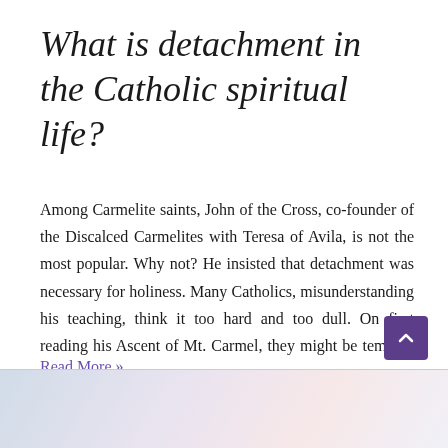What is detachment in the Catholic spiritual life?
Among Carmelite saints, John of the Cross, co-founder of the Discalced Carmelites with Teresa of Avila, is not the most popular. Why not? He insisted that detachment was necessary for holiness. Many Catholics, misunderstanding his teaching, think it too hard and too dull. On first reading his Ascent of Mt. Carmel, they might be tempted …
Read More »
[Figure (photo): Blurred background image at bottom of page, soft blue and pink tones]